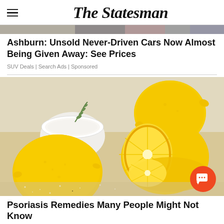The Statesman
[Figure (photo): Cropped banner photo strip at top — cars or editorial image, partially visible]
Ashburn: Unsold Never-Driven Cars Now Almost Being Given Away: See Prices
SUV Deals | Search Ads | Sponsored
[Figure (photo): Photo of lemons — whole and halved lemons on a wooden board with a white bowl of salt or cream and a sprig of rosemary]
Psoriasis Remedies Many People Might Not Know